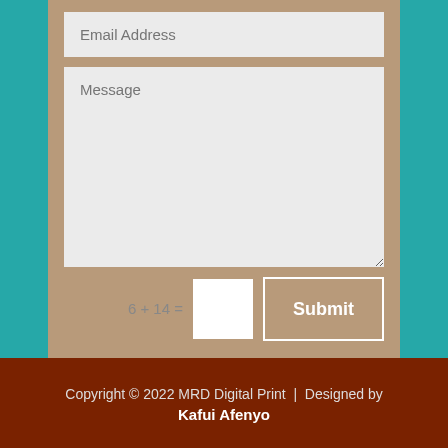Email Address
Message
6 + 14 =
Submit
Copyright © 2022 MRD Digital Print | Designed by Kafui Afenyo